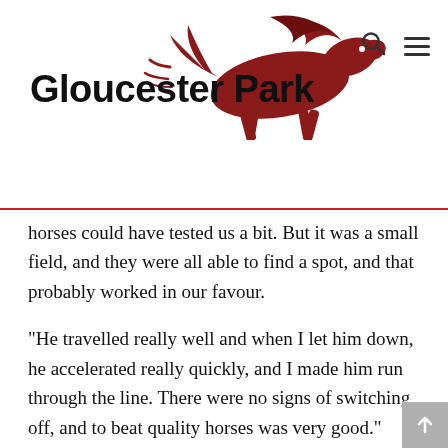Gloucester Park
horses could have tested us a bit. But it was a small field, and they were all able to find a spot, and that probably worked in our favour.
“He travelled really well and when I let him down, he accelerated really quickly, and I made him run through the line. There were no signs of switching off, and to beat quality horses was very good.” Mighty Conqueror, the second fancy at $7, enjoyed an ideal passage, one-out and one-back, but failed to make up ground in the final stages, finishing a well-